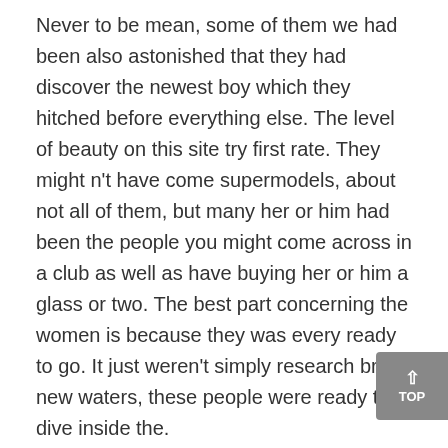Never to be mean, some of them we had been also astonished that they had discover the newest boy which they hitched before everything else. The level of beauty on this site try first rate. They might n't have come supermodels, about not all of them, but many her or him had been the people you might come across in a club as well as have buying her or him a glass or two. The best part concerning the women is because they was every ready to go. It just weren't simply research brand new waters, these people were ready to dive inside the.
Of all of the women that we contacted, we got a response speed of over 90%. That means that whilst the person, we had been capable of getting pretty much every woman so you're able to about admit united states and provide all of us a shout right back. It had been hard